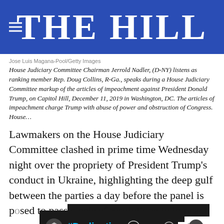[Figure (logo): The Hill news website header logo with hamburger menu icon on blue background]
Jose Luis Magana-Pool/Getty Images
House Judiciary Committee Chairman Jerrold Nadler, (D-NY) listens as ranking member Rep. Doug Collins, R-Ga., speaks during a House Judiciary Committee markup of the articles of impeachment against President Donald Trump, on Capitol Hill, December 11, 2019 in Washington, DC. The articles of impeachment charge Trump with abuse of power and obstruction of Congress. House…
Lawmakers on the House Judiciary Committee clashed in prime time Wednesday night over the propriety of President Trump's conduct in Ukraine, highlighting the deep gulf between the parties a day before the panel is poised to pass a pair of resolutions to impeach…
The historic launch of the two-day markup of
[Figure (advertisement): #Dadication advertisement banner with HHS, ACF, and Ad Council logos on dark background]